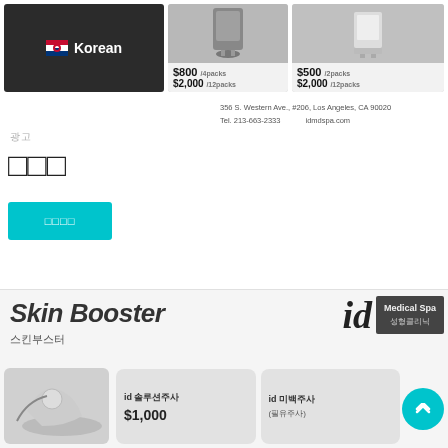[Figure (photo): Dark product device with Korean flag and 'Korean' text label]
[Figure (photo): Air purifier/medical device with pricing $800/4packs and $2,000/12packs]
[Figure (photo): White medical device with pricing $500/2packs and $2,000/12packs]
356 S. Western Ave., #206, Los Angeles, CA 90020
Tel. 213-663-2333   idmdspa.com
광고
제목글
더보기
[Figure (photo): Skin Booster advertisement with id Medical Spa 성형클리닉 logo, id 솔루션주사 $1,000, id 미백주사 (필유주사)]
스킨부스터